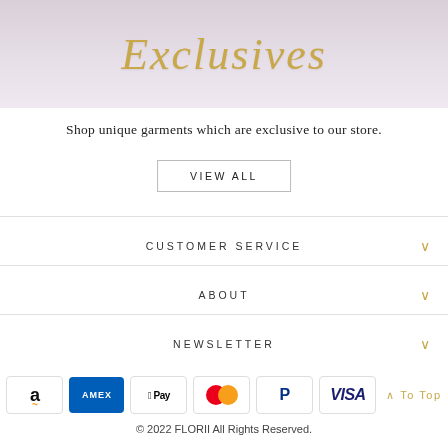[Figure (photo): Banner image showing the word Exclusives in gold script handwriting over a soft purple/pink background with a person writing]
Shop unique garments which are exclusive to our store.
VIEW ALL
CUSTOMER SERVICE
ABOUT
NEWSLETTER
[Figure (other): Payment method icons: Amazon, Amex, Apple Pay, Mastercard, PayPal, Visa]
© 2022 FLORII All Rights Reserved.